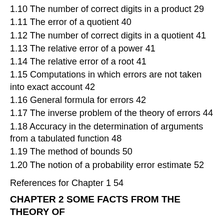1.10 The number of correct digits in a product 29
1.11 The error of a quotient 40
1.12 The number of correct digits in a quotient 41
1.13 The relative error of a power 41
1.14 The relative error of a root 41
1.15 Computations in which errors are not taken into exact account 42
1.16 General formula for errors 42
1.17 The inverse problem of the theory of errors 44
1.18 Accuracy in the determination of arguments from a tabulated function 48
1.19 The method of bounds 50
1.20 The notion of a probability error estimate 52
References for Chapter 1 54
CHAPTER 2 SOME FACTS FROM THE THEORY OF